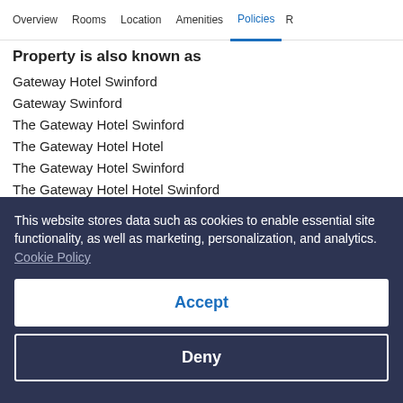Overview | Rooms | Location | Amenities | Policies | R
Property is also known as
Gateway Hotel Swinford
Gateway Swinford
The Gateway Hotel Swinford
The Gateway Hotel Hotel
The Gateway Hotel Swinford
The Gateway Hotel Hotel Swinford
Information about cancellation rights
This website stores data such as cookies to enable essential site functionality, as well as marketing, personalization, and analytics. Cookie Policy
Accept
Deny